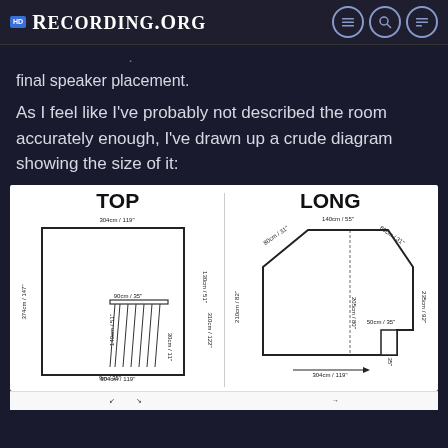RECORDING.ORG
final speaker placement.
As I feel like I've probably not described the room accurately enough, I've drawn up a crude diagram showing the size of it:
[Figure (engineering-diagram): Two architectural/floor plan diagrams labeled TOP and LONG, showing room dimensions. TOP view shows a rectangular room 304cm/119" wide by 374cm/147" long with a desk/chair element. LONG view shows the longitudinal section with an angled ceiling, dimensions 304cm/119" wide, 140cm/55" top width, various height and depth measurements.]